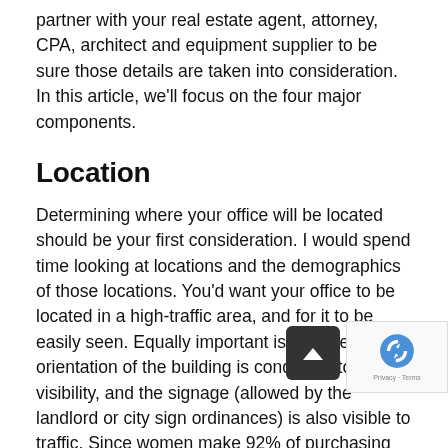to end up with the facility you want. You should partner with your real estate agent, attorney, CPA, architect and equipment supplier to be sure those details are taken into consideration. In this article, we'll focus on the four major components.
Location
Determining where your office will be located should be your first consideration. I would spend time looking at locations and the demographics of those locations. You'd want your office to be located in a high-traffic area, and for it to be easily seen. Equally important is that the orientation of the building is conducive to good visibility, and the signage (allowed by the landlord or city sign ordinances) is also visible to traffic. Since women make 92% of purchasing decisions when it comes to dental care, it's also a good idea to have it located near places women frequent, and have an overall design that appeals to a